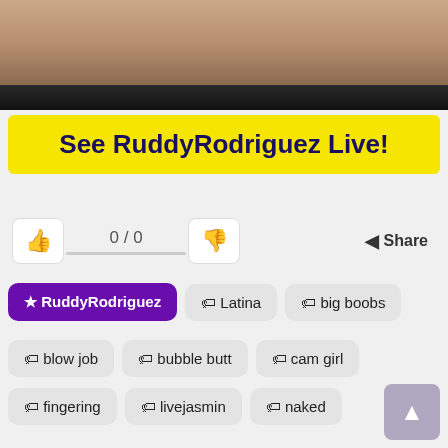[Figure (photo): Partial photo with dark strip at bottom]
See RuddyRodriguez Live!
0 / 0  Share
★ RuddyRodriguez
🏷 Latina
🏷 big boobs
🏷 blow job
🏷 bubble butt
🏷 cam girl
🏷 fingering
🏷 livejasmin
🏷 naked
🏷 private show video
🏷 reverse cowgirl
🏷 tan lines